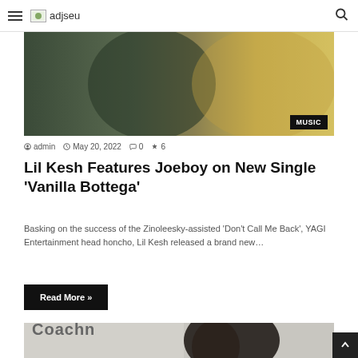adjseu
[Figure (photo): Two people with hands clasped, and a person wearing a yellow outfit on the right side. MUSIC badge in bottom-right corner.]
admin  May 20, 2022  0  6
Lil Kesh Features Joeboy on New Single 'Vanilla Bottega'
Basking on the success of the Zinoleesky-assisted 'Don't Call Me Back', YAGI Entertainment head honcho, Lil Kesh released a brand new…
Read More »
[Figure (photo): A woman with braids wearing sunglasses in front of a Coach banner.]